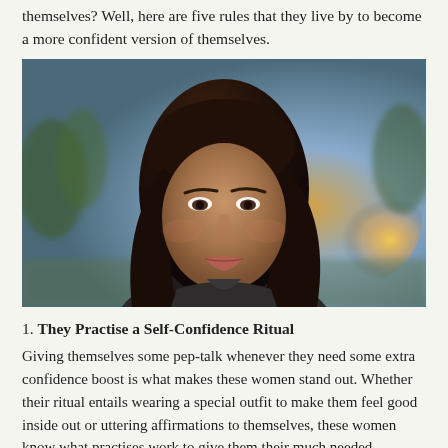themselves? Well, here are five rules that they live by to become a more confident version of themselves.
[Figure (photo): Portrait photo of a young woman with long dark wavy hair, looking confidently at the camera, with a blurred outdoor background featuring bokeh lighting.]
1. They Practise a Self-Confidence Ritual
Giving themselves some pep-talk whenever they need some extra confidence boost is what makes these women stand out. Whether their ritual entails wearing a special outfit to make them feel good inside out or uttering affirmations to themselves, these women know what practises work to give them their much needed confidence boost and they are not afraid to use it.